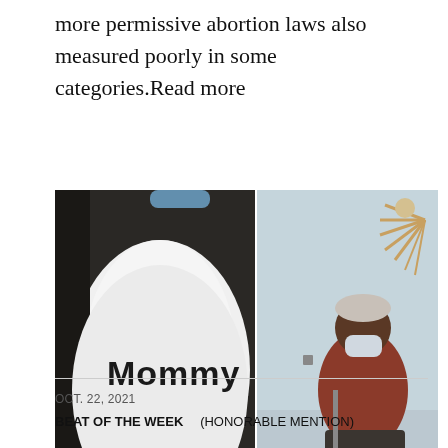more permissive abortion laws also measured poorly in some categories.Read more
[Figure (photo): Two photos side by side: left photo shows a person from behind wearing a white shirt with 'Mommy' printed on the back; right photo shows an elderly person wearing a mask sitting at a desk with a computer keyboard.]
OCT. 22, 2021
BEAT OF THE WEEK    (HONORABLE MENTION)